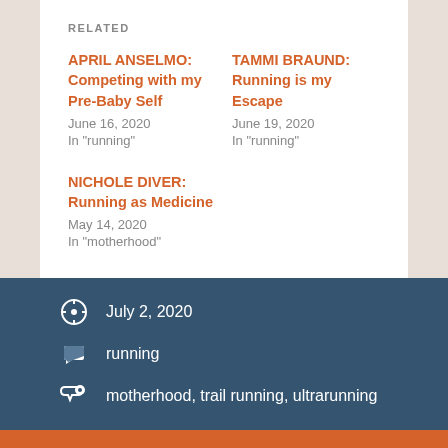RELATED
APRIL ANSELMO: Competing with my Pre-Baby Self
June 16, 2020
In "running"
TAMMI BRAUND: Running is my Escape
June 19, 2020
In "running"
NICHOLE DIVER: Running as Medicine
May 14, 2020
In "motherhood"
July 2, 2020
running
motherhood, trail running, ultrarunning